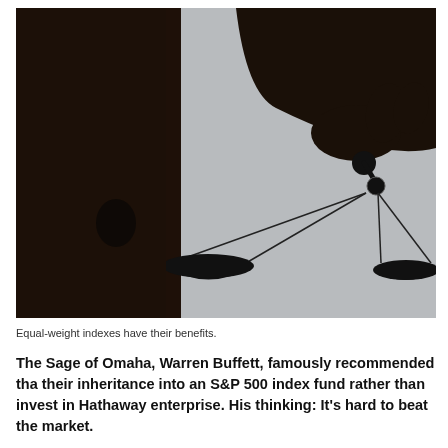[Figure (photo): Silhouette of a hand holding a balance scale (scales of justice) against a light gray background. The left pan hangs lower than the right pan.]
Equal-weight indexes have their benefits.
The Sage of Omaha, Warren Buffett, famously recommended that their inheritance into an S&P 500 index fund rather than invest in Hathaway enterprise. His thinking: It's hard to beat the market.